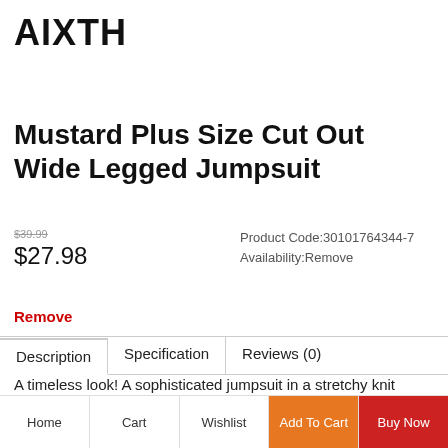AIXTH
Mustard Plus Size Cut Out Wide Legged Jumpsuit
$39.99
$27.98
Product Code:30101764344-7 Availability:Remove
Remove
Description	Specification	Reviews (0)
A timeless look! A sophisticated jumpsuit in a stretchy knit bodice solid all throughout. Features a front and back cut out along the top with 3/4 sleeves and cinched waist. Has side slit pockets with a form hugging silhouette and wide legged bottoms. Looks amazing with ankle strap heels and chandelier earrings! Features...
Home	Cart	Wishlist	Add To Cart	Buy Now